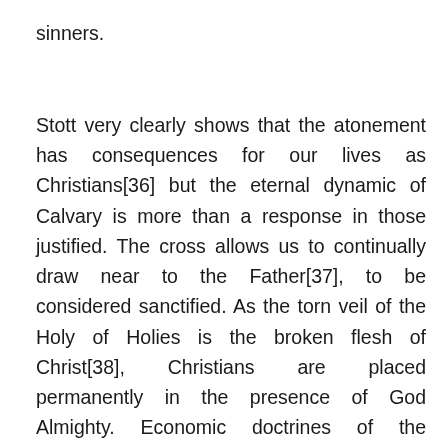sinners.
Stott very clearly shows that the atonement has consequences for our lives as Christians[36] but the eternal dynamic of Calvary is more than a response in those justified. The cross allows us to continually draw near to the Father[37], to be considered sanctified. As the torn veil of the Holy of Holies is the broken flesh of Christ[38], Christians are placed permanently in the presence of God Almighty. Economic doctrines of the atonement not only explain the mechanics of the transition between the outer courts and the final destination, but also provide a crucial and necessary foundation for the life within that terminus. Furthermore, the one cannot be